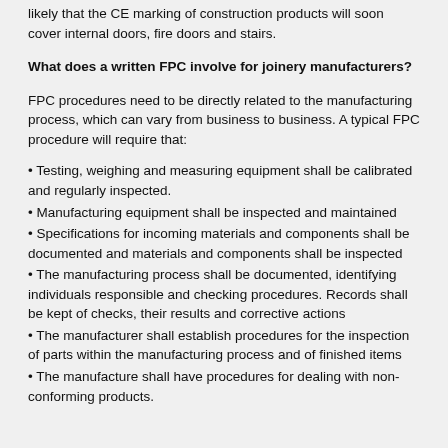likely that the CE marking of construction products will soon cover internal doors, fire doors and stairs.
What does a written FPC involve for joinery manufacturers?
FPC procedures need to be directly related to the manufacturing process, which can vary from business to business. A typical FPC procedure will require that:
Testing, weighing and measuring equipment shall be calibrated and regularly inspected.
Manufacturing equipment shall be inspected and maintained
Specifications for incoming materials and components shall be documented and materials and components shall be inspected
The manufacturing process shall be documented, identifying individuals responsible and checking procedures. Records shall be kept of checks, their results and corrective actions
The manufacturer shall establish procedures for the inspection of parts within the manufacturing process and of finished items
The manufacture shall have procedures for dealing with non-conforming products.